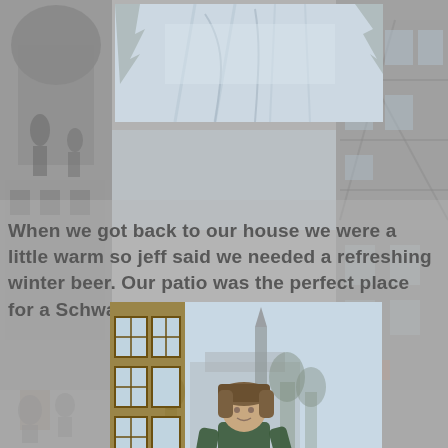[Figure (photo): Collage background of European town street scenes and buildings, faded/ghosted]
[Figure (photo): Top center photo of a snow-covered road or path with tracks in the snow]
When we got back to our house we were a little warm so jeff said we needed a refreshing winter beer. Our patio was the perfect place for a Schwaben Brau Marzen.
[Figure (photo): Person wearing a winter hat and green jacket standing outside a snow-covered patio next to a house with large windows, holding something in gloved hands, snowy landscape with church steeple in background]